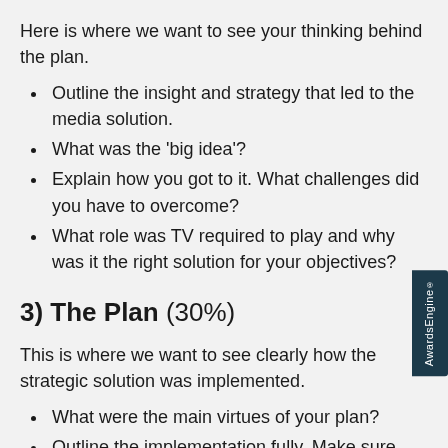Here is where we want to see your thinking behind the plan.
Outline the insight and strategy that led to the media solution.
What was the 'big idea'?
Explain how you got to it. What challenges did you have to overcome?
What role was TV required to play and why was it the right solution for your objectives?
3) The Plan (30%)
This is where we want to see clearly how the strategic solution was implemented.
What were the main virtues of your plan?
Outline the implementation fully. Make sure you include enough detail about the